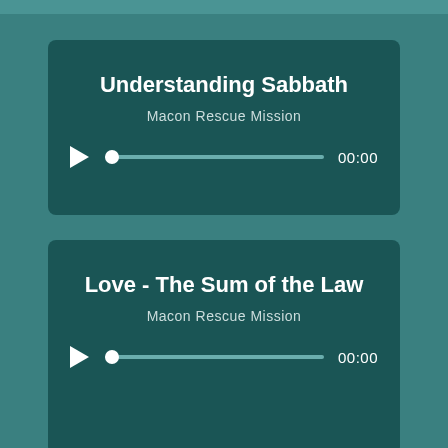[Figure (screenshot): Audio player card with title 'Understanding Sabbath', subtitle 'Macon Rescue Mission', play button, scrubber bar, and time display '00:00']
Understanding Sabbath
Macon Rescue Mission
[Figure (screenshot): Audio player card with title 'Love - The Sum of the Law', subtitle 'Macon Rescue Mission', play button, scrubber bar, and time display '00:00']
Love - The Sum of the Law
Macon Rescue Mission